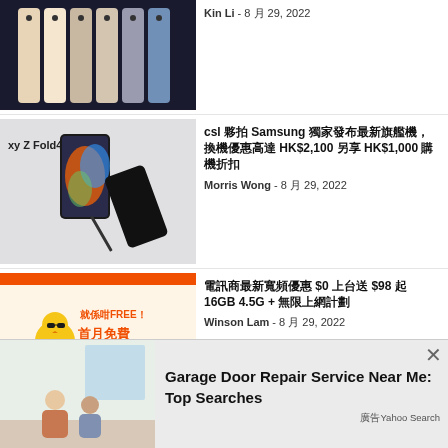[Figure (photo): Row of iPhone 14 Pro phones in various colors lined up]
Kin Li  -  8 月 29, 2022
[Figure (photo): Samsung Galaxy Z Fold4 folding phone advertisement]
csl 夥拍 Samsung 獨家發布最新旗艦機，換機優惠高達 HK$2,100 另享 HK$1,000 購機折扣
Morris Wong  -  8 月 29, 2022
[Figure (photo): Advertisement banner: 就係咁FREE！首月免費 promotional ad with cartoon chicken]
電訊商最新寬頻優惠 $0 上台送 $98 起 16GB 4.5G + 無限上網計劃
Winson Lam  -  8 月 29, 2022
[Figure (photo): Popup ad: Garage Door Repair Service Near Me: Top Searches — Yahoo Search]
Garage Door Repair Service Near Me: Top Searches